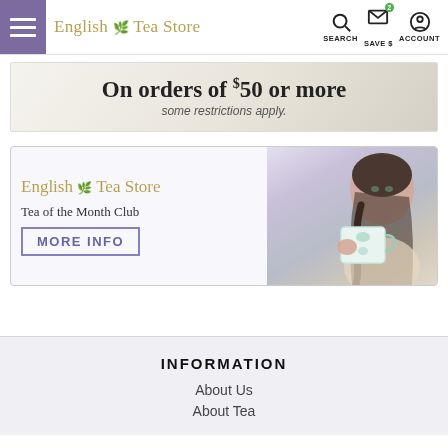English Tea Store — SEARCH  SAVE $  ACCOUNT
[Figure (infographic): Promotional banner: 'On orders of $50 or more — some restrictions apply.' Grey/beige textured background.]
[Figure (infographic): English Tea Store Tea of the Month Club promotional card with MORE INFO button and photo of woman drinking from a mug.]
INFORMATION
About Us
About Tea